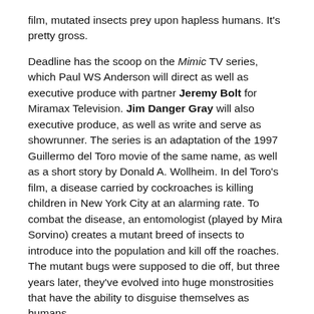film, mutated insects prey upon hapless humans. It's pretty gross.
Deadline has the scoop on the Mimic TV series, which Paul WS Anderson will direct as well as executive produce with partner Jeremy Bolt for Miramax Television. Jim Danger Gray will also executive produce, as well as write and serve as showrunner. The series is an adaptation of the 1997 Guillermo del Toro movie of the same name, as well as a short story by Donald A. Wollheim. In del Toro's film, a disease carried by cockroaches is killing children in New York City at an alarming rate. To combat the disease, an entomologist (played by Mira Sorvino) creates a mutant breed of insects to introduce into the population and kill off the roaches. The mutant bugs were supposed to die off, but three years later, they've evolved into huge monstrosities that have the ability to disguise themselves as humans.